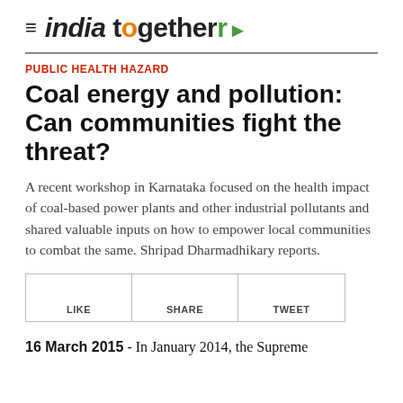india together
PUBLIC HEALTH HAZARD
Coal energy and pollution: Can communities fight the threat?
A recent workshop in Karnataka focused on the health impact of coal-based power plants and other industrial pollutants and shared valuable inputs on how to empower local communities to combat the same. Shripad Dharmadhikary reports.
[Figure (other): Social sharing buttons: LIKE, SHARE, TWEET]
16 March 2015 - In January 2014, the Supreme